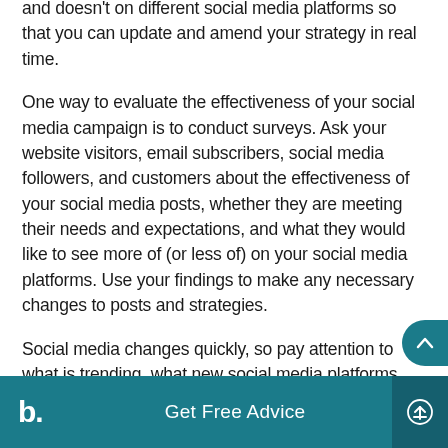and doesn't on different social media platforms so that you can update and amend your strategy in real time.
One way to evaluate the effectiveness of your social media campaign is to conduct surveys. Ask your website visitors, email subscribers, social media followers, and customers about the effectiveness of your social media posts, whether they are meeting their needs and expectations, and what they would like to see more of (or less of) on your social media platforms. Use your findings to make any necessary changes to posts and strategies.
Social media changes quickly, so pay attention to what is trending, what new social media platforms emerge and which ones seem to be losing traction. Try to keep up with what is happening, and adjust
b.  Get Free Advice